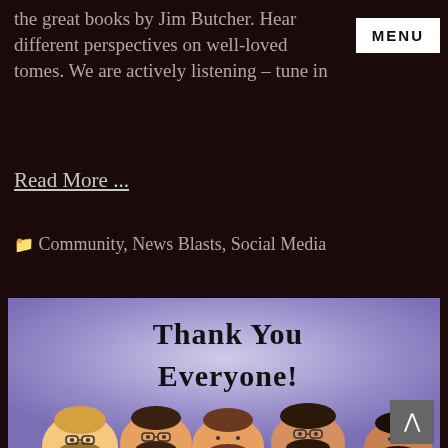the great books by Jim Butcher. Hear different perspectives on well-loved tomes. We are actively listening – tune in
Read More …
Community, News Blasts, Social Media
[Figure (illustration): A cartoon illustration with a purple/lavender background showing text 'Thank You Everyone!' in dark serif font, with cartoon avatar faces of several bearded men along the bottom edge.]